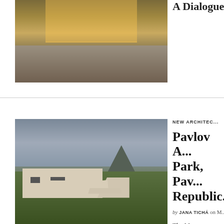[Figure (photo): Exterior photograph of a modern building at dusk/evening with illuminated windows, showing glass facade and paved foreground]
A Dialogue B...
[Figure (photo): Outdoor photograph of Pavlov Archaeological Park showing white concrete sculptural structures in a green field with a rocky hill in the background under a cloudy sky]
NEW ARCHITECTURE
Pavlov A... Park, Pav... Republic...
by JANA TICHÁ on M...
The Memory...